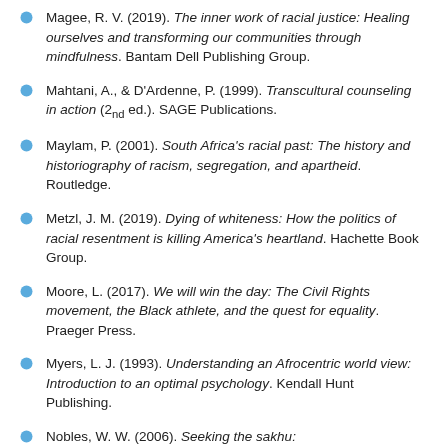Magee, R. V. (2019). The inner work of racial justice: Healing ourselves and transforming our communities through mindfulness. Bantam Dell Publishing Group.
Mahtani, A., & D'Ardenne, P. (1999). Transcultural counseling in action (2nd ed.). SAGE Publications.
Maylam, P. (2001). South Africa's racial past: The history and historiography of racism, segregation, and apartheid. Routledge.
Metzl, J. M. (2019). Dying of whiteness: How the politics of racial resentment is killing America's heartland. Hachette Book Group.
Moore, L. (2017). We will win the day: The Civil Rights movement, the Black athlete, and the quest for equality. Praeger Press.
Myers, L. J. (1993). Understanding an Afrocentric world view: Introduction to an optimal psychology. Kendall Hunt Publishing.
Nobles, W. W. (2006). Seeking the sakhu: